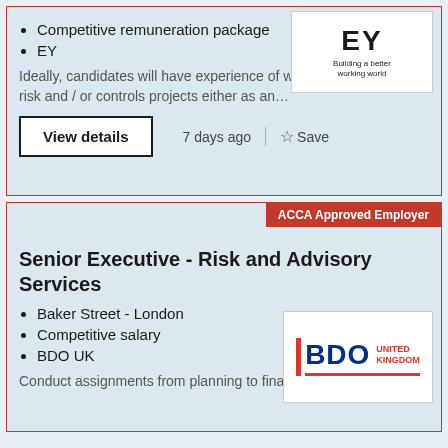Competitive remuneration package
EY
[Figure (logo): EY logo with tagline 'Building a better working world']
Ideally, candidates will have experience of working in assurance, risk and / or controls projects either as an…
View details
7 days ago
Save
ACCA Approved Employer
Senior Executive - Risk and Advisory Services
Baker Street - London
Competitive salary
BDO UK
[Figure (logo): BDO United Kingdom logo]
Conduct assignments from planning to final reporting,…